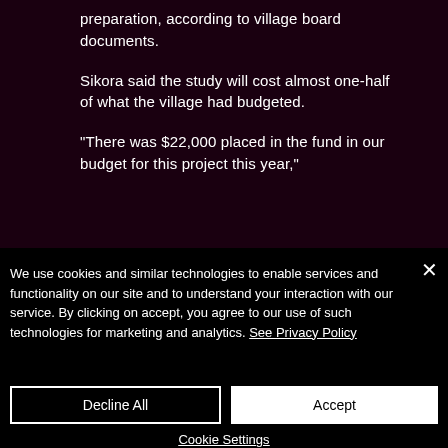preparation, according to village board documents.
Sikora said the study will cost almost one-half of what the village had budgeted.
“There was $22,000 placed in the fund in our budget for this project this year,”
We use cookies and similar technologies to enable services and functionality on our site and to understand your interaction with our service. By clicking on accept, you agree to our use of such technologies for marketing and analytics. See Privacy Policy
Decline All
Accept
Cookie Settings